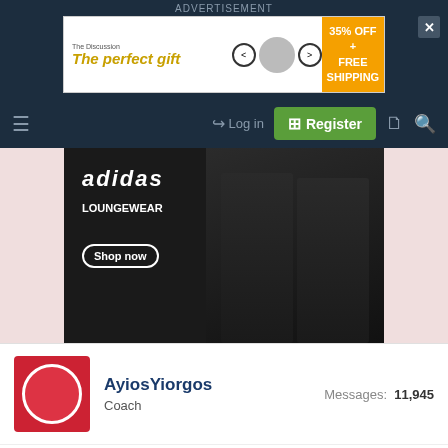ADVERTISEMENT
[Figure (screenshot): Top advertisement banner: 'The perfect gift' with food/kitchen product and '35% OFF + FREE SHIPPING' in orange section]
[Figure (screenshot): Navigation bar with hamburger menu, Log in button, Register button (green), document icon, search icon]
[Figure (screenshot): Adidas loungewear advertisement banner with two models in dark hoodies and 'Shop now' button]
AyiosYiorgos
Coach
Messages:  11,945
Jan 22, 2022
#14,959
Part 2